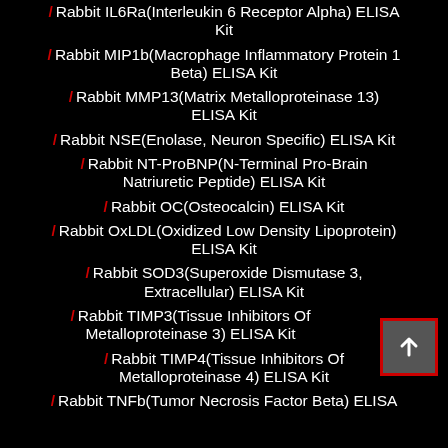Rabbit IL6Ra(Interleukin 6 Receptor Alpha) ELISA Kit
Rabbit MIP1b(Macrophage Inflammatory Protein 1 Beta) ELISA Kit
Rabbit MMP13(Matrix Metalloproteinase 13) ELISA Kit
Rabbit NSE(Enolase, Neuron Specific) ELISA Kit
Rabbit NT-ProBNP(N-Terminal Pro-Brain Natriuretic Peptide) ELISA Kit
Rabbit OC(Osteocalcin) ELISA Kit
Rabbit OxLDL(Oxidized Low Density Lipoprotein) ELISA Kit
Rabbit SOD3(Superoxide Dismutase 3, Extracellular) ELISA Kit
Rabbit TIMP3(Tissue Inhibitors Of Metalloproteinase 3) ELISA Kit
Rabbit TIMP4(Tissue Inhibitors Of Metalloproteinase 4) ELISA Kit
Rabbit TNFb(Tumor Necrosis Factor Beta) ELISA Kit